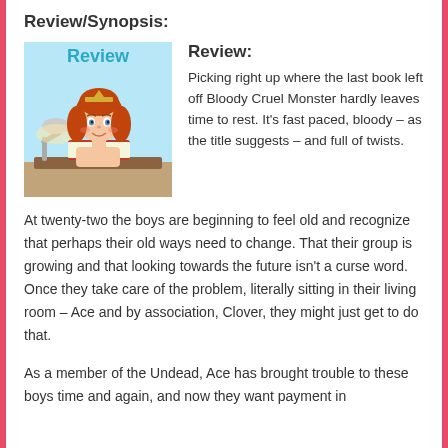Review/Synopsis:
[Figure (illustration): Cartoon illustration of a girl with red/orange hair wearing a tiara, sitting at a desk reading a red book, with a desk lamp. The word 'Review' appears in teal/blue at the top of the image.]
Review:
Picking right up where the last book left off Bloody Cruel Monster hardly leaves time to rest. It's fast paced, bloody – as the title suggests – and full of twists.
At twenty-two the boys are beginning to feel old and recognize that perhaps their old ways need to change. That their group is growing and that looking towards the future isn't a curse word. Once they take care of the problem, literally sitting in their living room – Ace and by association, Clover, they might just get to do that.
As a member of the Undead, Ace has brought trouble to these boys time and again, and now they want payment in